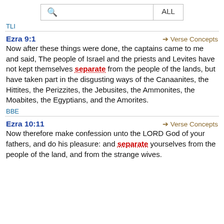TLI
Ezra 9:1
Now after these things were done, the captains came to me and said, The people of Israel and the priests and Levites have not kept themselves separate from the people of the lands, but have taken part in the disgusting ways of the Canaanites, the Hittites, the Perizzites, the Jebusites, the Ammonites, the Moabites, the Egyptians, and the Amorites.
BBE
Ezra 10:11
Now therefore make confession unto the LORD God of your fathers, and do his pleasure: and separate yourselves from the people of the land, and from the strange wives.